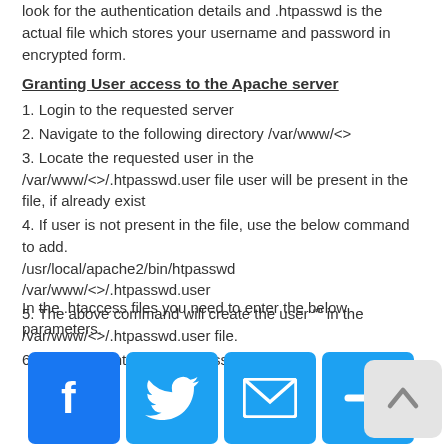look for the authentication details and .htpasswd is the actual file which stores your username and password in encrypted form.
Granting User access to the Apache server
1. Login to the requested server
2. Navigate to the following directory /var/www/<>
3. Locate the requested user in the /var/www/<>/.htpasswd.user file user will be present in the file, if already exist
4. If user is not present in the file, use the below command to add. /usr/local/apache2/bin/htpasswd /var/www/<>/.htpasswd.user
5. The above command will create the user “” in the /var/www/<>/.htpasswd.user file.
6. Verify the entry in the htpasswd.user file
In the .htaccess files you need to enter the below parameters.
[Figure (infographic): Social share buttons: Facebook, Twitter, Email, Plus; and a scroll-to-top button]